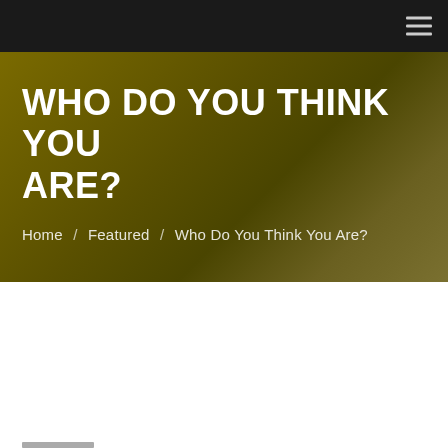Navigation bar with hamburger menu
WHO DO YOU THINK YOU ARE?
Home / Featured / Who Do You Think You Are?